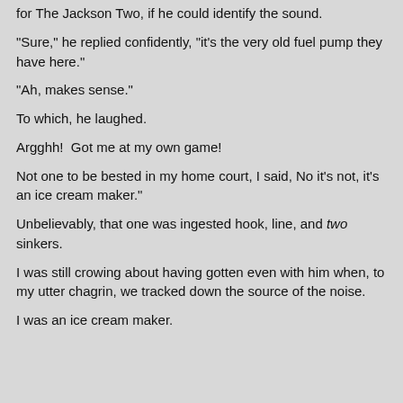for The Jackson Two, if he could identify the sound.
"Sure," he replied confidently, "it's the very old fuel pump they have here."
"Ah, makes sense."
To which, he laughed.
Argghh!  Got me at my own game!
Not one to be bested in my home court, I said, No it's not, it's an ice cream maker."
Unbelievably, that one was ingested hook, line, and two sinkers.
I was still crowing about having gotten even with him when, to my utter chagrin, we tracked down the source of the noise.
I was an ice cream maker.